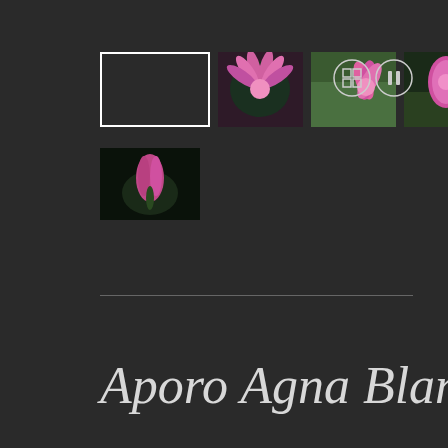[Figure (screenshot): A photo gallery interface on a dark background showing a row of flower thumbnail images (pink cactus flowers), a white outlined placeholder rectangle as the first item, control buttons (grid and pause icons) on the right, a second row with one more thumbnail below, a horizontal divider line, and the italic title text 'Aporo Agna Blanca' in light gray.]
Aporo Agna Blanca